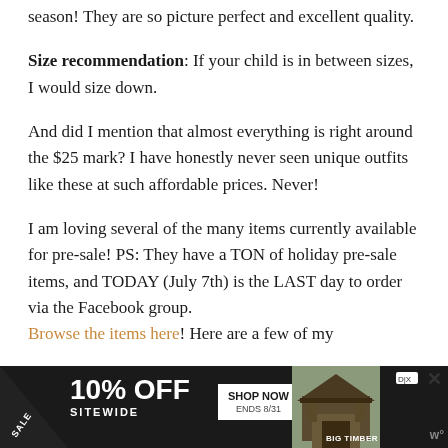season! They are so picture perfect and excellent quality.
Size recommendation: If your child is in between sizes, I would size down.
And did I mention that almost everything is right around the $25 mark? I have honestly never seen unique outfits like these at such affordable prices. Never!
I am loving several of the many items currently available for pre-sale! PS: They have a TON of holiday pre-sale items, and TODAY (July 7th) is the LAST day to order via the Facebook group. Browse the items here! Here are a few of my
[Figure (other): Advertisement banner: SALE 10% OFF SITEWIDE, SHOP NOW ENDS 8/31, BIG TIMBER with close button]